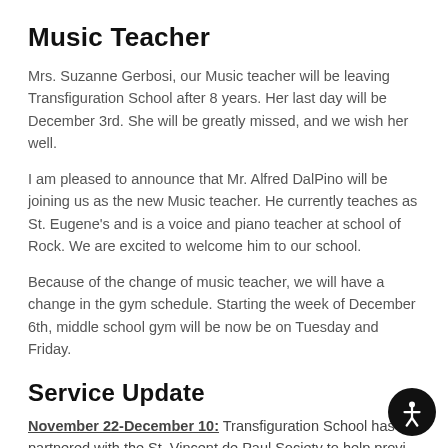Music Teacher
Mrs. Suzanne Gerbosi, our Music teacher will be leaving Transfiguration School after 8 years. Her last day will be December 3rd. She will be greatly missed, and we wish her well.
I am pleased to announce that Mr. Alfred DalPino will be joining us as the new Music teacher. He currently teaches as St. Eugene's and is a voice and piano teacher at school of Rock. We are excited to welcome him to our school.
Because of the change of music teacher, we will have a change in the gym schedule. Starting the week of December 6th, middle school gym will be now be on Tuesday and Friday.
Service Update
November 22-December 10: Transfiguration School has partnered with the St. Vincent de Paul Society to help provide gifts to needy children in our area. Our Giving Tree will hold 6…